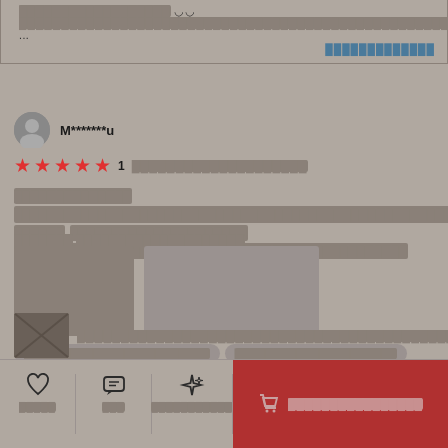[blurred review text] [thumbs icons] [blurred continuation text]...
[see more link]
M*******u
★★★★★  1 [blurred date text]
[blurred review body paragraph]
[blurred review subtitle]
[Figure (photo): Two blurred/redacted product review images side by side]
[blurred tags: tag1, tag2, tag3, tag4]
[Figure (photo): Thumbnail of next review item with blurred text]
[bottom bar: favorite, chat, sparkle action buttons, add to cart button]